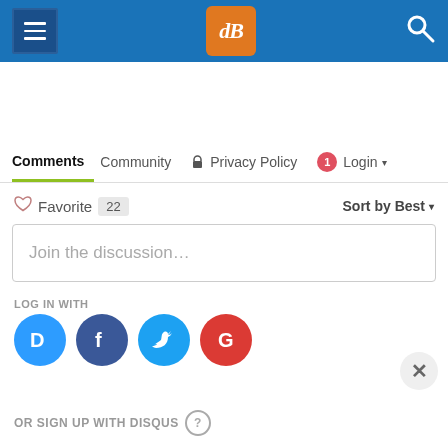[Figure (screenshot): Blue header bar with hamburger menu icon on left, dPS logo in orange square in center, and search icon on right]
Comments  Community  🔒 Privacy Policy  1 Login ▾
♡ Favorite  22                                    Sort by Best ▾
Join the discussion…
LOG IN WITH
[Figure (logo): Social login icons: Disqus (blue D), Facebook (dark blue F), Twitter (light blue bird), Google (red G)]
OR SIGN UP WITH DISQUS ?